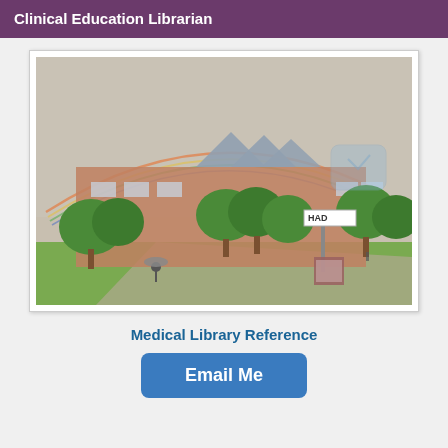Clinical Education Librarian
[Figure (photo): Outdoor photograph of a medical/university campus building with brick and glass architecture, green trees in foreground, a rainbow arching across a hazy gray sky, a street sign reading 'HAD', and a person with an umbrella on a path.]
Medical Library Reference
Email Me